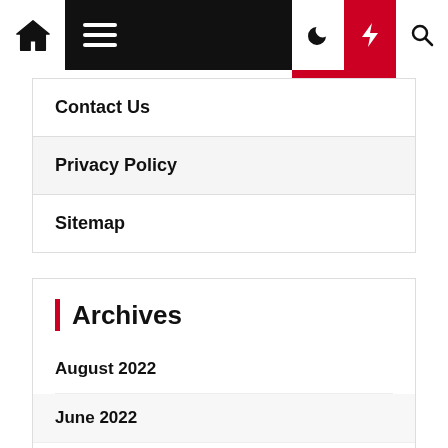Navigation bar with home icon, hamburger menu, moon icon, lightning bolt (red), search icon
Contact Us
Privacy Policy
Sitemap
Archives
August 2022
June 2022
April 2022
March 2022